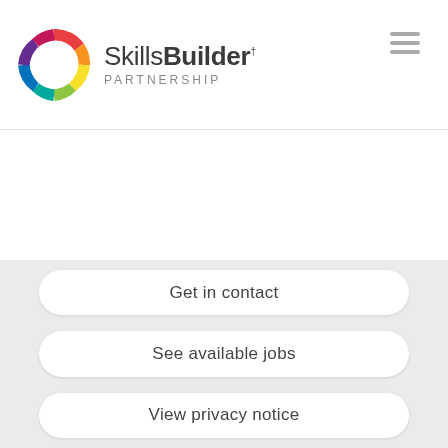Skills Builder PARTNERSHIP
Get in contact
See available jobs
View privacy notice